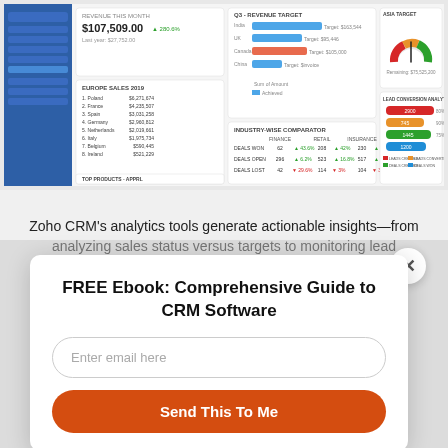[Figure (screenshot): Zoho CRM analytics dashboard screenshot showing Revenue This Month ($107,509.00), Europe Sales 2019 list, Q3 Revenue Target bar chart, Industry-wise Comparator table, Asia Target gauge chart, and Lead Conversion Analytics horizontal bar chart.]
Zoho CRM's analytics tools generate actionable insights—from analyzing sales status versus targets to monitoring lead
[Figure (screenshot): Modal popup overlay with close button (X), title 'FREE Ebook: Comprehensive Guide to CRM Software', email input field with placeholder 'Enter email here', and orange 'Send This To Me' button.]